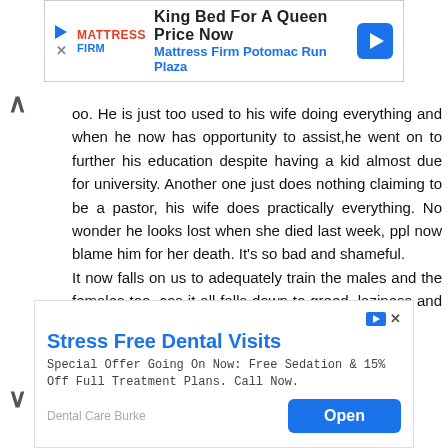[Figure (screenshot): Top advertisement banner: King Bed For A Queen Price Now - Mattress Firm Potomac Run Plaza]
oo. He is just too used to his wife doing everything and when he now has opportunity to assist,he went on to further his education despite having a kid almost due for university. Another one just does nothing claiming to be a pastor, his wife does practically everything. No wonder he looks lost when she died last week, ppl now blame him for her death. It's so bad and shameful.
It now falls on us to adequately train the males and the females too, cos it all falls down to greed, laziness and societal expectations.
Reply
▾ Replies
[Figure (screenshot): Bottom advertisement banner: Stress Free Dental Visits - Special Offer Going On Now: Free Sedation & 15% Off Full Treatment Plans. Call Now. Dental Care Burke - Open button]